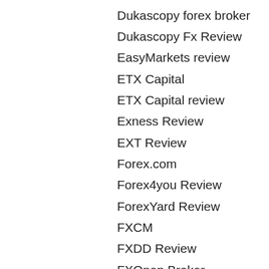Dukascopy forex broker
Dukascopy Fx Review
EasyMarkets review
ETX Capital
ETX Capital review
Exness Review
EXT Review
Forex.com
Forex4you Review
ForexYard Review
FXCM
FXDD Review
FXOpen Broker
Fxpro
Hotforex Review
HY Markets Review
iforex Review